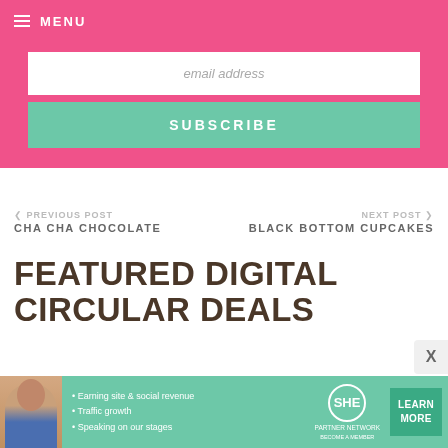MENU
email address
SUBSCRIBE
< PREVIOUS POST
CHA CHA CHOCOLATE
NEXT POST >
BLACK BOTTOM CUPCAKES
FEATURED DIGITAL CIRCULAR DEALS
[Figure (infographic): SHE partner network advertisement banner with a person photo, bullet points: Earning site & social revenue, Traffic growth, Speaking on our stages, SHE PARTNER NETWORK BECOME A MEMBER logo, and LEARN MORE button]